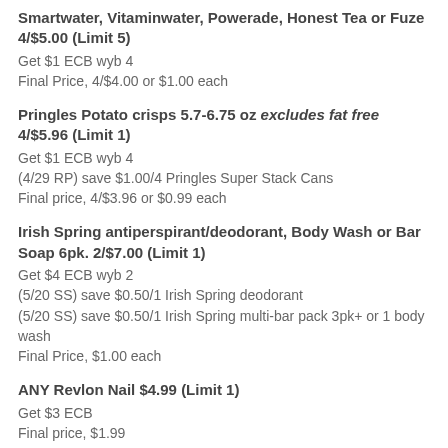Smartwater, Vitaminwater, Powerade, Honest Tea or Fuze 4/$5.00 (Limit 5)
Get $1 ECB wyb 4
Final Price, 4/$4.00 or $1.00 each
Pringles Potato crisps 5.7-6.75 oz excludes fat free 4/$5.96 (Limit 1)
Get $1 ECB wyb 4
(4/29 RP) save $1.00/4 Pringles Super Stack Cans
Final price, 4/$3.96 or $0.99 each
Irish Spring antiperspirant/deodorant, Body Wash or Bar Soap 6pk. 2/$7.00 (Limit 1)
Get $4 ECB wyb 2
(5/20 SS) save $0.50/1 Irish Spring deodorant
(5/20 SS) save $0.50/1 Irish Spring multi-bar pack 3pk+ or 1 body wash
Final Price, $1.00 each
ANY Revlon Nail $4.99 (Limit 1)
Get $3 ECB
Final price, $1.99